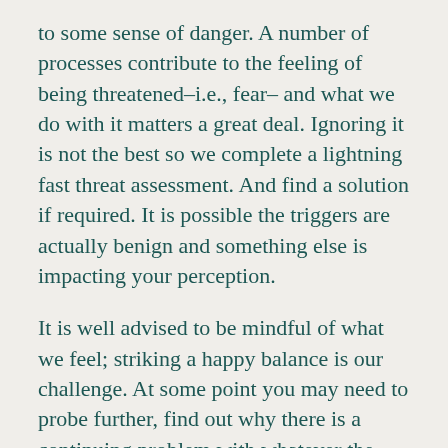to some sense of danger. A number of processes contribute to the feeling of being threatened–i.e., fear– and what we do with it matters a great deal. Ignoring it is not the best so we complete a lightning fast threat assessment. And find a solution if required. It is possible the triggers are actually benign and something else is impacting your perception.
It is well advised to be mindful of what we feel; striking a happy balance is our challenge. At some point you may need to probe further, find out why there is a continuing problem with whatever the issue is. Our feelings originate and culminate in subtle and complicated dances. They are